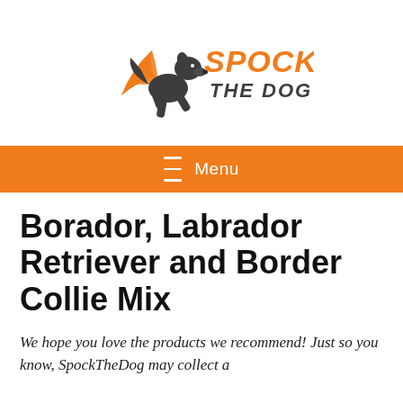[Figure (logo): Spock The Dog logo: dark grey silhouette of a leaping dog wearing an orange superhero cape, with orange bold text 'SPOCK' and grey text 'THE DOG' to the right]
≡ Menu
Borador, Labrador Retriever and Border Collie Mix
We hope you love the products we recommend! Just so you know, SpockTheDog may collect a